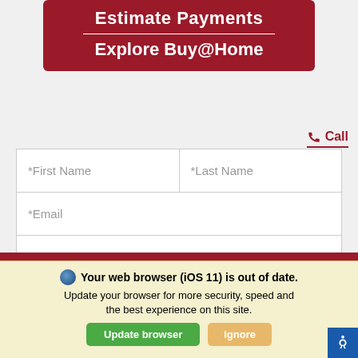[Figure (screenshot): Dark red banner with white text: 'Estimate Payments' (with horizontal divider line) and 'Explore Buy@Home']
Call
[Figure (screenshot): Contact form with fields: *First Name, *Last Name, *Email, Phone, and a 'Contact Dealer' button]
Your web browser (iOS 11) is out of date. Update your browser for more security, speed and the best experience on this site.
Update browser
Ignore